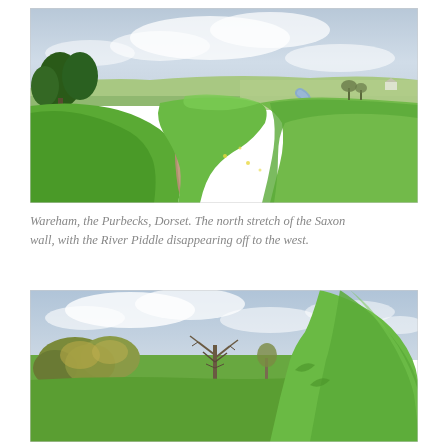[Figure (photo): Landscape photo of the north stretch of the Saxon wall at Wareham, the Purbecks, Dorset. A grass-covered embankment with a dirt path runs through the center, with the River Piddle visible to the right winding off to the west. Trees visible on the upper left. Overcast sky.]
Wareham, the Purbecks, Dorset. The north stretch of the Saxon wall, with the River Piddle disappearing off to the west.
[Figure (photo): Landscape photo showing a green grassy embankment (part of the Saxon wall at Wareham) rising steeply on the right side. Bare trees and shrubs visible in the center and left, with a pale cloudy sky above.]